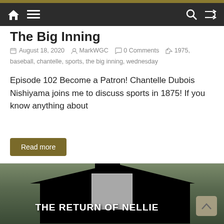Navigation bar with home, menu, search, and shuffle icons
The Big Inning
August 18, 2020  MarkWGC  0 Comments  1975, baseball, chantelle, sports, the big inning, wednesday
Episode 102 Become a Patron! Chantelle Dubois Nishiyama joins me to discuss sports in 1875! If you know anything about
Read more
[Figure (photo): Thumbnail image for second article showing a house/barn silhouette in black with text THE RETURN OF NELLIE overlaid in white bold letters]